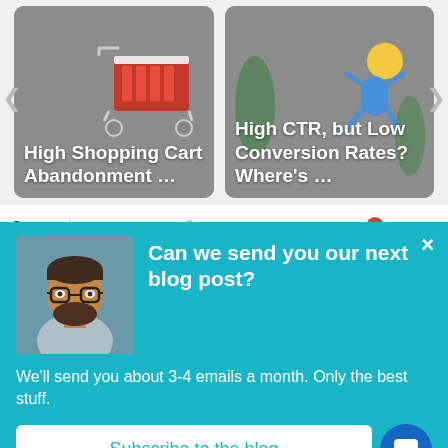[Figure (screenshot): Two article preview cards: left card 'High Shopping Cart Abandonment …' with shopping cart illustration on gray background; right card 'High CTR, but Low Conversion Rates? Where's …' with illustration on gray background]
Comments | Community | Privacy Policy | Login
♡ Favorite | Sort by Best ▾
[Figure (photo): Man with glasses and beard smiling, wearing light gray shirt, photo used in blog subscription popup]
Can we send you our next blog post?
We'll send you about 3-4 emails a month. Only the best stuff.
Subscribe to the blog